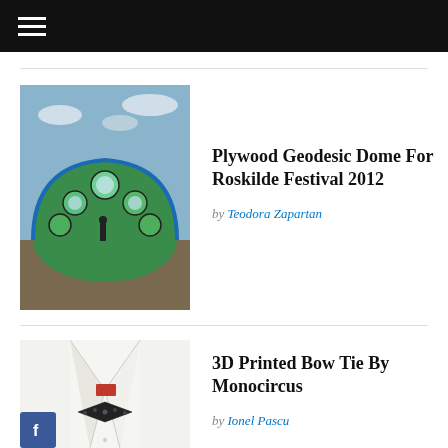☰ (navigation menu)
[Figure (photo): Plywood geodesic dome structure with hexagonal panels in blue and green, photographed at Roskilde Festival 2012 under a cloudy sky, with a person standing in front]
Plywood Geodesic Dome For Roskilde Festival 2012
by Teodora Zapartan
[Figure (photo): White dress shirt with a 3D printed bow tie, with a Facebook icon overlay in the lower left corner]
3D Printed Bow Tie By Monocircus
by Ionel Pascu